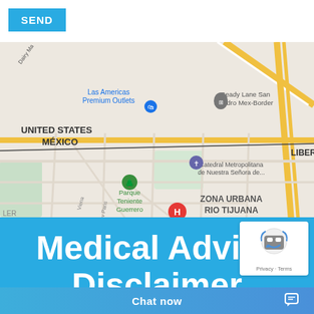[Figure (other): SEND button (teal/blue rectangle with white bold text)]
[Figure (map): Google Maps screenshot showing Tijuana/San Ysidro border area with landmarks: Las Americas Premium Outlets, Ready Lane San Ysidro Mex-Border, Catedral Metropolitana de Nuestra Señora de..., Parque Teniente Guerrero, ZONA URBANA RIO TIJUANA, Torre de Agua Caliente, LIBERTAD. Shows US-Mexico border. Navigation arrow button visible at right.]
Medical Advice Disclaimer
[Figure (other): reCAPTCHA badge with robot icon and Privacy - Terms text]
Chat now